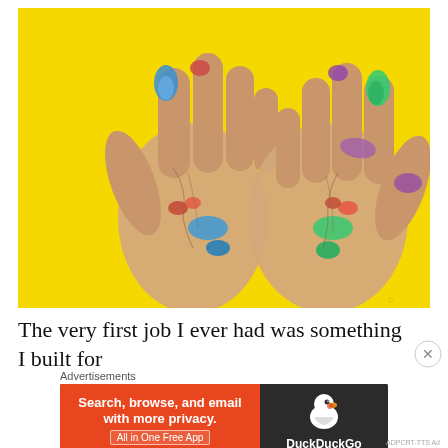[Figure (photo): Two hands covered in colorful paint (blue, red, green, purple) shown palms-forward against a bright yellow background]
The very first job I ever had was something I built for
Advertisements
[Figure (screenshot): DuckDuckGo advertisement banner: orange left side with 'Search, browse, and email with more privacy. All in One Free App', dark right side with DuckDuckGo duck logo and text]